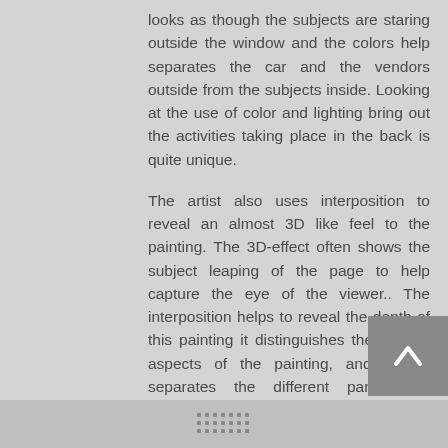looks as though the subjects are staring outside the window and the colors help separates the car and the vendors outside from the subjects inside. Looking at the use of color and lighting bring out the activities taking place in the back is quite unique.
The artist also uses interposition to reveal an almost 3D like feel to the painting. The 3D-effect often shows the subject leaping of the page to help capture the eye of the viewer.. The interposition helps to reveal the depth of this painting it distinguishes the various aspects of the painting, and almost separates the different parts. The illusionary perspective makes it feel like the car and everything is happening right in front of your face.